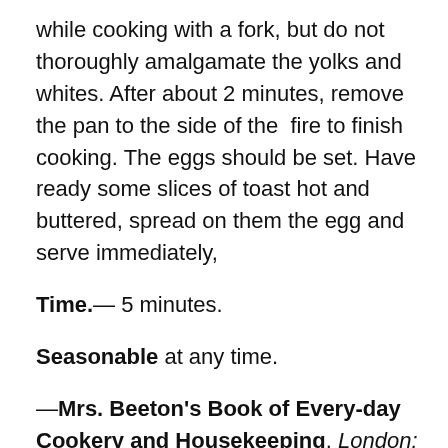while cooking with a fork, but do not thoroughly amalgamate the yolks and whites. After about 2 minutes, remove the pan to the side of the  fire to finish cooking. The eggs should be set. Have ready some slices of toast hot and buttered, spread on them the egg and serve immediately,
Time.— 5 minutes.
Seasonable at any time.
—Mrs. Beeton's Book of Every-day Cookery and Housekeeping. London: Ward, Lock, 1891.
I was actually pretty amazed when I saw how simple this was. I am not a fan of eggs at all, but everyone else in my family likes them, so I make scrambled eggs a lot–mixed with milk or cream, shredded cheese, salt, pepper,